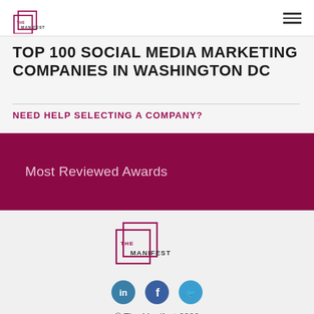[Figure (logo): The Manifest logo - top left navigation]
TOP 100 SOCIAL MEDIA MARKETING COMPANIES IN WASHINGTON DC
NEED HELP SELECTING A COMPANY?
Most Reviewed Awards
[Figure (logo): The Manifest logo - centered in footer area]
[Figure (other): Social media icons: LinkedIn, Facebook, Twitter]
© The Manifest 2022